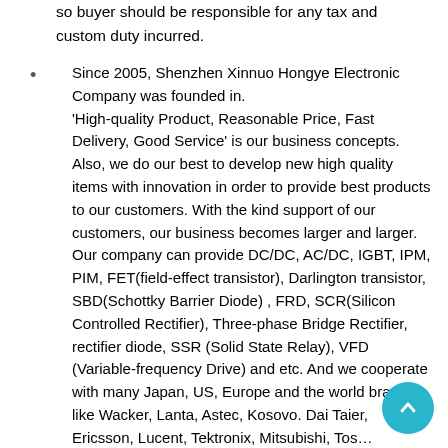so buyer should be responsible for any tax and custom duty incurred.
Since 2005, Shenzhen Xinnuo Hongye Electronic Company was founded in.
'High-quality Product, Reasonable Price, Fast Delivery, Good Service' is our business concepts. Also, we do our best to develop new high quality items with innovation in order to provide best products to our customers. With the kind support of our customers, our business becomes larger and larger.
Our company can provide DC/DC, AC/DC, IGBT, IPM, PIM, FET(field-effect transistor), Darlington transistor, SBD(Schottky Barrier Diode) , FRD, SCR(Silicon Controlled Rectifier), Three-phase Bridge Rectifier, rectifier diode, SSR (Solid State Relay), VFD (Variable-frequency Drive) and etc. And we cooperate with many Japan, US, Europe and the world brands, like Wacker, Lanta, Astec, Kosovo. Dai Taier, Ericsson, Lucent, Tektronix, Mitsubishi, Toshiba, Fujitsu, Hitachi, Siemens, XCMG, Sanshe, OPEC, ISAS, MOTOROLA,Sanken、ABB, PRX, IR, IP, TDK, AT & T,